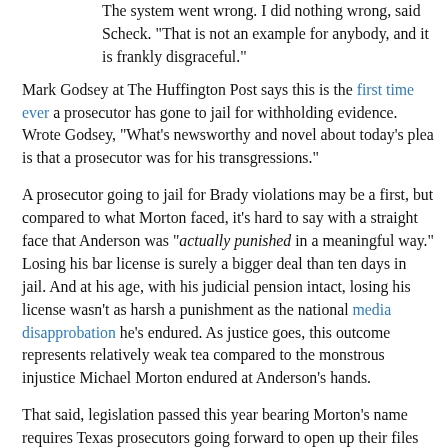The system went wrong. I did nothing wrong, said Scheck. "That is not an example for anybody, and it is frankly disgraceful."
Mark Godsey at The Huffington Post says this is the first time ever a prosecutor has gone to jail for withholding evidence. Wrote Godsey, "What's newsworthy and novel about today's plea is that a prosecutor was for his transgressions."
A prosecutor going to jail for Brady violations may be a first, but compared to what Morton faced, it's hard to say with a straight face that Anderson was "actually punished in a meaningful way." Losing his bar license is surely a bigger deal than ten days in jail. And at his age, with his judicial pension intact, losing his license wasn't as harsh a punishment as the national media disapprobation he's endured. As justice goes, this outcome represents relatively weak tea compared to the monstrous injustice Michael Morton endured at Anderson's hands.
That said, legislation passed this year bearing Morton's name requires Texas prosecutors going forward to open up their files to defense counsel, a measure that probably would...